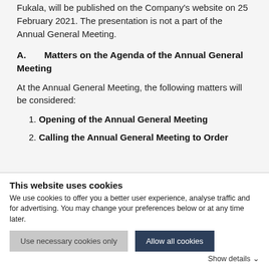Fukala, will be published on the Company's website on 25 February 2021. The presentation is not a part of the Annual General Meeting.
A.    Matters on the Agenda of the Annual General Meeting
At the Annual General Meeting, the following matters will be considered:
1. Opening of the Annual General Meeting
2. Calling the Annual General Meeting to Order
This website uses cookies
We use cookies to offer you a better user experience, analyse traffic and for advertising. You may change your preferences below or at any time later.
Use necessary cookies only
Allow all cookies
Show details